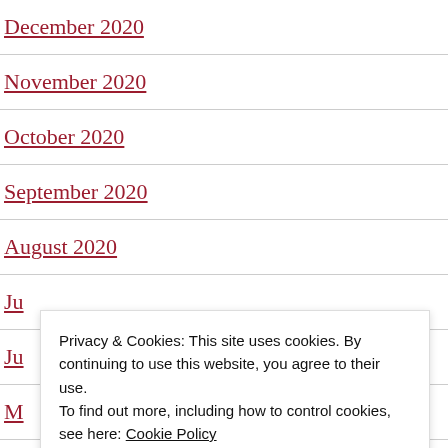December 2020
November 2020
October 2020
September 2020
August 2020
Ju
Ju
M
Ap
March 2020
Privacy & Cookies: This site uses cookies. By continuing to use this website, you agree to their use. To find out more, including how to control cookies, see here: Cookie Policy
Close and accept